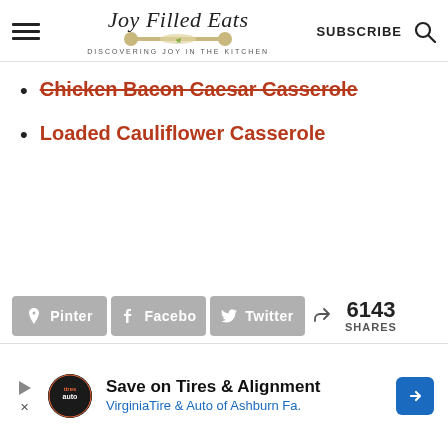Joy Filled Eats — DISCOVERING JOY IN THE KITCHEN | SUBSCRIBE
Chicken Bacon Caesar Casserole
Loaded Cauliflower Casserole
[Figure (infographic): Social share buttons: Pinterest, Facebook, Twitter; 6143 SHARES]
[Figure (infographic): Advertisement banner: Save on Tires & Alignment — VirginiaTire & Auto of Ashburn Fa.]